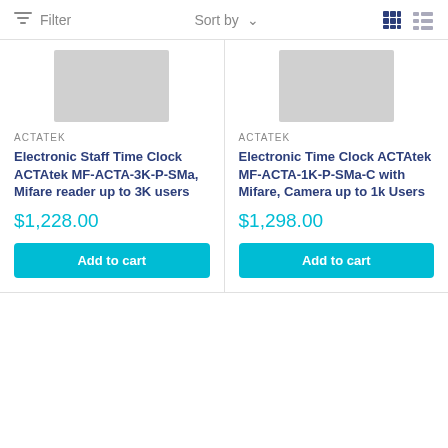Filter   Sort by   [grid view] [list view]
[Figure (photo): Product image placeholder - grey rectangle for Electronic Staff Time Clock ACTAtek MF-ACTA-3K-P-SMa]
ACTATEK
Electronic Staff Time Clock ACTAtek MF-ACTA-3K-P-SMa, Mifare reader up to 3K users
$1,228.00
Add to cart
[Figure (photo): Product image placeholder - grey rectangle for Electronic Time Clock ACTAtek MF-ACTA-1K-P-SMa-C]
ACTATEK
Electronic Time Clock ACTAtek MF-ACTA-1K-P-SMa-C with Mifare, Camera up to 1k Users
$1,298.00
Add to cart